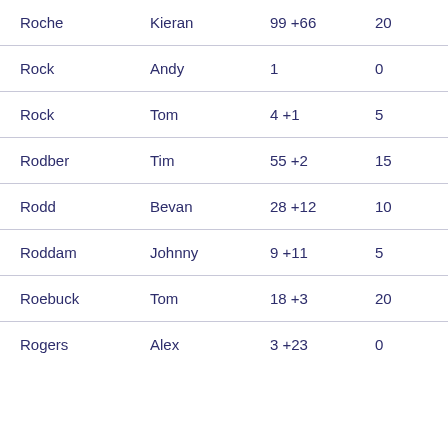| Roche | Kieran | 99 +66 | 20 | 05/05/201 |
| Rock | Andy | 1 | 0 | 06/05/200 |
| Rock | Tom | 4 +1 | 5 | 13/04/200 |
| Rodber | Tim | 55 +2 | 15 | 16/04/200 |
| Rodd | Bevan | 28 +12 | 10 | 04/06/202 |
| Roddam | Johnny | 9 +11 | 5 | 13/03/200 |
| Roebuck | Tom | 18 +3 | 20 | 04/06/202 |
| Rogers | Alex | 3 +23 | 0 | 28/04/201 |